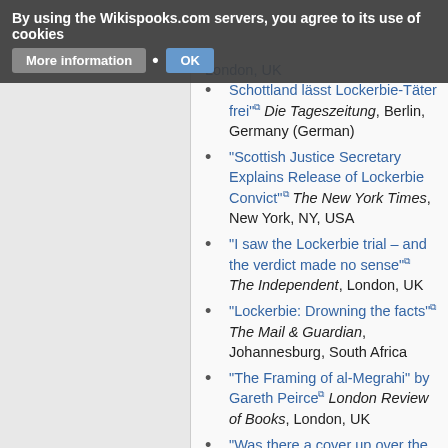By using the Wikispooks.com servers, you agree to its use of cookies  More information  • OK
Schottland lässt Lockerbie-Täter frei" Die Tageszeitung, Berlin, Germany (German)
"Scottish Justice Secretary Explains Release of Lockerbie Convict" The New York Times, New York, NY, USA
"I saw the Lockerbie trial – and the verdict made no sense" The Independent, London, UK
"Lockerbie: Drowning the facts" The Mail & Guardian, Johannesburg, South Africa
"The Framing of al-Megrahi" by Gareth Peirce London Review of Books, London, UK
"Was there a cover up over the